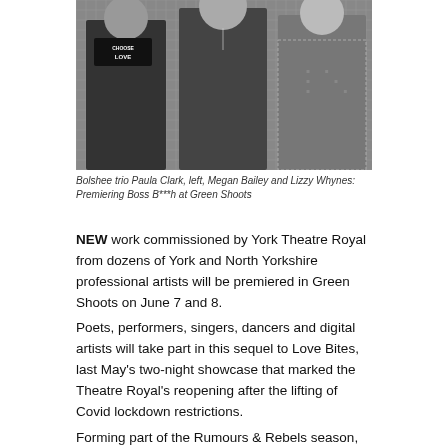[Figure (photo): Black and white photo of three women standing together. The woman on the left wears a 'Choose Love' t-shirt. The woman in the middle wears a black top. The woman on the right wears a patterned kimono-style jacket. They are standing in front of a grid/mesh background.]
Bolshee trio Paula Clark, left, Megan Bailey and Lizzy Whynes: Premiering Boss B***h at Green Shoots
NEW work commissioned by York Theatre Royal from dozens of York and North Yorkshire professional artists will be premiered in Green Shoots on June 7 and 8.
Poets, performers, singers, dancers and digital artists will take part in this sequel to Love Bites, last May's two-night showcase that marked the Theatre Royal's reopening after the lifting of Covid lockdown restrictions.
Forming part of the Rumours & Rebels season, Green